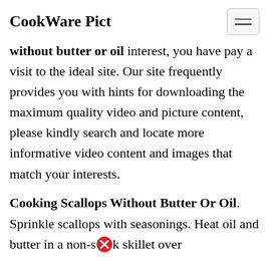CookWare Pict
without butter or oil interest, you have pay a visit to the ideal site. Our site frequently provides you with hints for downloading the maximum quality video and picture content, please kindly search and locate more informative video content and images that match your interests.
Cooking Scallops Without Butter Or Oil.
Sprinkle scallops with seasonings. Heat oil and butter in a non-s✕k skillet over